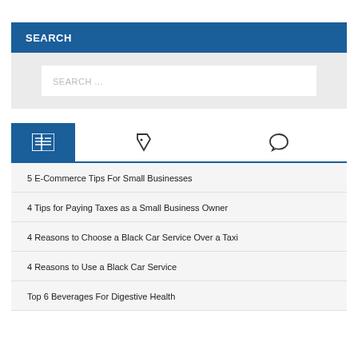SEARCH
[Figure (screenshot): Search input box with placeholder text 'SEARCH ...']
[Figure (infographic): Tab bar with three icons: newspaper/article icon (active, blue background), tag icon, and speech bubble icon]
5 E-Commerce Tips For Small Businesses
4 Tips for Paying Taxes as a Small Business Owner
4 Reasons to Choose a Black Car Service Over a Taxi
4 Reasons to Use a Black Car Service
Top 6 Beverages For Digestive Health